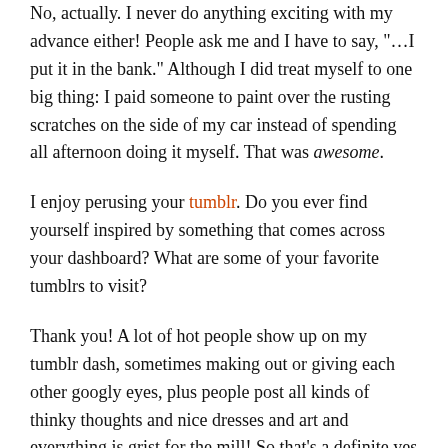No, actually. I never do anything exciting with my advance either! People ask me and I have to say, "…I put it in the bank." Although I did treat myself to one big thing: I paid someone to paint over the rusting scratches on the side of my car instead of spending all afternoon doing it myself. That was awesome.
I enjoy perusing your tumblr. Do you ever find yourself inspired by something that comes across your dashboard? What are some of your favorite tumblrs to visit?
Thank you! A lot of hot people show up on my tumblr dash, sometimes making out or giving each other googly eyes, plus people post all kinds of thinky thoughts and nice dresses and art and everything is grist for the mill! So that's a definite yes to inspiration. When I read the question, this was the first thing I thought of: